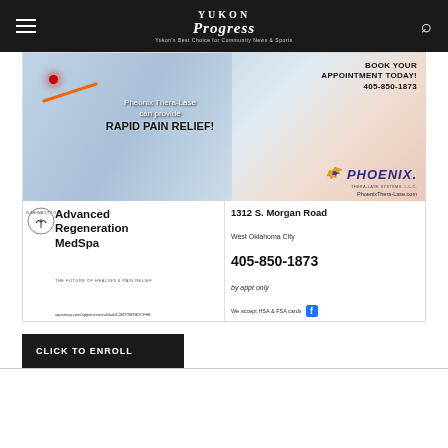Yukon Progress
[Figure (photo): Advertisement for Phoenix Thera-Lase / Advanced Regeneration MedSpa. Top portion shows hands with laser therapy device (orange/red laser visible). Text overlay states: 'Pheonix Thera-Lase can provide RAPID PAIN RELIEF!' Right side: 'BOOK YOUR APPOINTMENT TODAY! 405-850-1873', Phoenix Thera-Lase Systems LLC logo, PhoenixThera-Lase.com. Bottom section: Oklahoma City, OK badge, 'Advanced Regeneration MedSpa', 'THE FUTURE OF HEALING & PAIN RELIEF', 'squareup.com/appointments/book/LJEDOMT8DCFH8' on left. Right side: '1312 S. Morgan Road', 'West Oklahoma City', '405-850-1873', 'by appt only', 'We accept HSA & FSA cards', Facebook icon.]
CLICK TO ENROLL